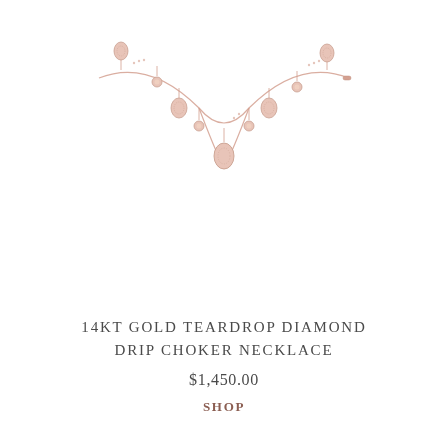[Figure (photo): A rose gold 14kt gold teardrop diamond drip choker necklace displayed on a white background. The necklace has a delicate chain with multiple teardrop-shaped diamond pavé pendants and small bezel-set round diamond accents hanging from it, forming a gentle U-shaped drape.]
14KT GOLD TEARDROP DIAMOND DRIP CHOKER NECKLACE
$1,450.00
SHOP